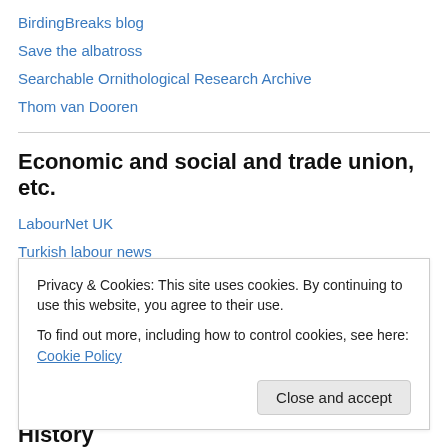BirdingBreaks blog
Save the albatross
Searchable Ornithological Research Archive
Thom van Dooren
Economic and social and trade union, etc.
LabourNet UK
Turkish labour news
Eli...
Privacy & Cookies: This site uses cookies. By continuing to use this website, you agree to their use.
To find out more, including how to control cookies, see here: Cookie Policy
Close and accept
History